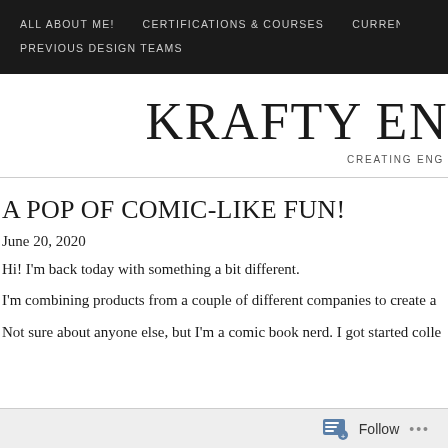ALL ABOUT ME! | CERTIFICATIONS & COURSES | CURRENT DESIGN T… | PREVIOUS DESIGN TEAMS
KRAFTY EN…
CREATING ENG…
A POP OF COMIC-LIKE FUN!
June 20, 2020
Hi! I'm back today with something a bit different.
I'm combining products from a couple of different companies to create a
Not sure about anyone else, but I'm a comic book nerd. I got started colle